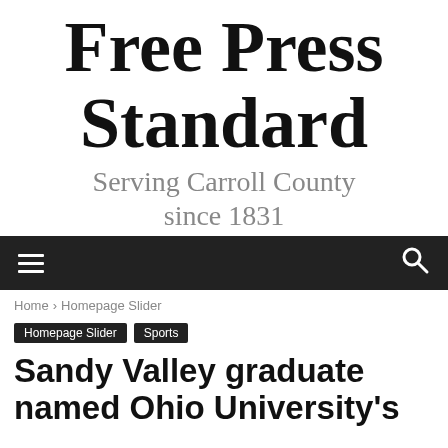Free Press Standard
Serving Carroll County since 1831
[Figure (screenshot): Navigation bar with hamburger menu icon on left and search icon on right, dark background]
Home › Homepage Slider
Homepage Slider   Sports
Sandy Valley graduate named Ohio University's